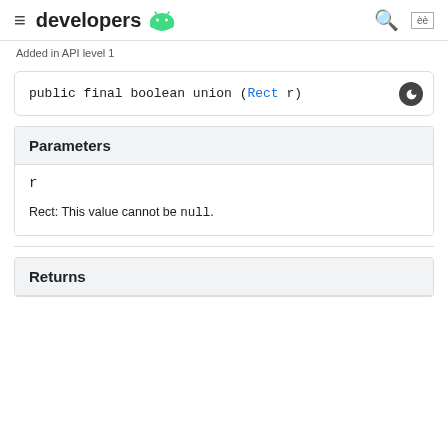developers
Added in API level 1
public final boolean union (Rect r)
Parameters
r
Rect: This value cannot be null.
Returns